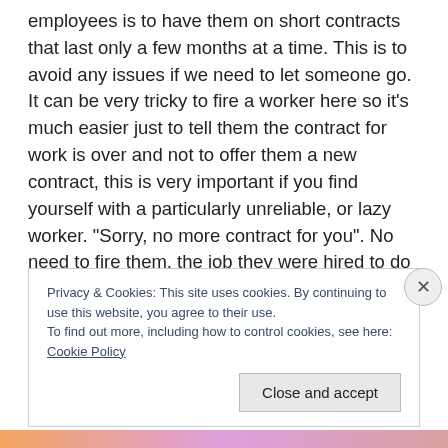employees is to have them on short contracts that last only a few months at a time. This is to avoid any issues if we need to let someone go. It can be very tricky to fire a worker here so it's much easier just to tell them the contract for work is over and not to offer them a new contract, this is very important if you find yourself with a particularly unreliable, or lazy worker. “Sorry, no more contract for you”. No need to fire them, the job they were hired to do is just over, easy breezy. As a matter of fact Scott has two workers who seem to have a hard time getting to work on Mondays, so this week was time to
Privacy & Cookies: This site uses cookies. By continuing to use this website, you agree to their use.
To find out more, including how to control cookies, see here: Cookie Policy